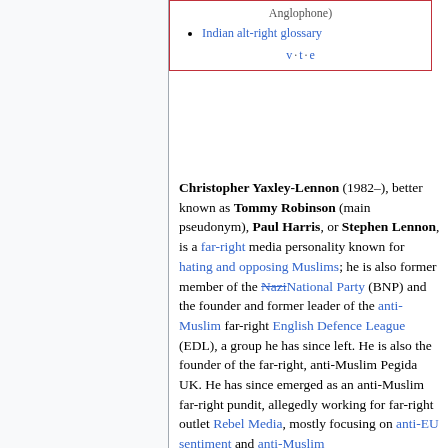Anglophone)
Indian alt-right glossary
v · t · e
Christopher Yaxley-Lennon (1982–), better known as Tommy Robinson (main pseudonym), Paul Harris, or Stephen Lennon, is a far-right media personality known for hating and opposing Muslims; he is also former member of the far-right British NaziNational Party (BNP) and the founder and former leader of the anti-Muslim far-right English Defence League (EDL), a group he has since left. He is also the founder of the far-right, anti-Muslim Pegida UK. He has since emerged as an anti-Muslim far-right pundit, allegedly working for far-right outlet Rebel Media, mostly focusing on anti-EU sentiment and anti-Muslim